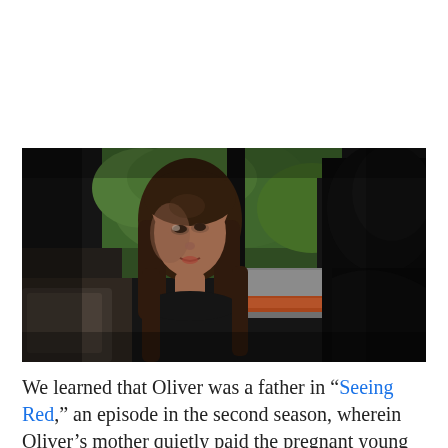[Figure (photo): A TV scene showing a young woman with long dark hair in a dark top, facing a person from behind (seen in silhouette on the right). Green trees visible through a window in the background, with an orange and grey object in the mid-ground.]
We learned that Oliver was a father in “Seeing Red,” an episode in the second season, wherein Oliver’s mother quietly paid the pregnant young woman off to